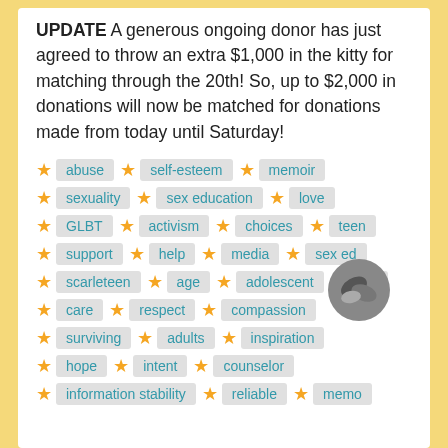UPDATE A generous ongoing donor has just agreed to throw an extra $1,000 in the kitty for matching through the 20th! So, up to $2,000 in donations will now be matched for donations made from today until Saturday!
★ abuse ★ self-esteem ★ memoir
★ sexuality ★ sex education ★ love
★ GLBT ★ activism ★ choices ★ teen
★ support ★ help ★ media ★ sex ed
★ scarleteen ★ age ★ adolescent ★ life
★ care ★ respect ★ compassion
★ surviving ★ adults ★ inspiration
★ hope ★ intent ★ counselor
★ information stability ★ reliable ★ memo